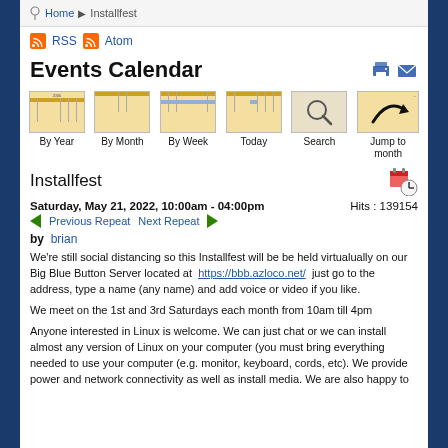Home ▶ Installfest
RSS  Atom
Events Calendar
[Figure (other): Calendar navigation icons: By Year, By Month, By Week, Today, Search, Jump to month]
Installfest
Saturday, May 21, 2022, 10:00am - 04:00pm    Hits : 139154
◀ Previous Repeat    Next Repeat ▶
by brian
We're still social distancing so this Installfest will be be held virtualually on our Big Blue Button Server located at https://bbb.azloco.net/ just go to the address, type a name (any name) and add voice or video if you like.
We meet on the 1st and 3rd Saturdays each month from 10am till 4pm
Anyone interested in Linux is welcome. We can just chat or we can install almost any version of Linux on your computer (you must bring everything needed to use your computer (e.g. monitor, keyboard, cords, etc). We provide power and network connectivity as well as install media. We are also happy to